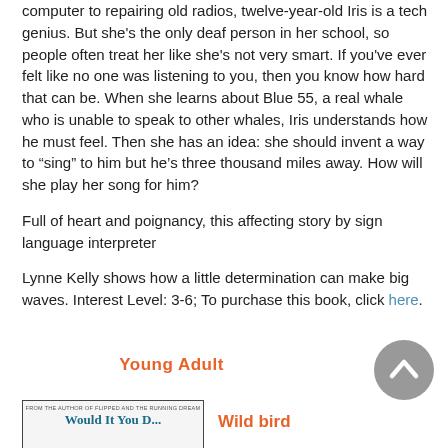computer to repairing old radios, twelve-year-old Iris is a tech genius. But she's the only deaf person in her school, so people often treat her like she's not very smart. If you've ever felt like no one was listening to you, then you know how hard that can be. When she learns about Blue 55, a real whale who is unable to speak to other whales, Iris understands how he must feel. Then she has an idea: she should invent a way to “sing” to him but he’s three thousand miles away. How will she play her song for him?
Full of heart and poignancy, this affecting story by sign language interpreter
Lynne Kelly shows how a little determination can make big waves. Interest Level: 3-6; To purchase this book, click here.
Young Adult
[Figure (illustration): Book cover thumbnail with text 'FROM THE AUTHOR OF FLIPPED AND THE RUNNING DREAM' and partial book title in teal/blue color]
Wild bird